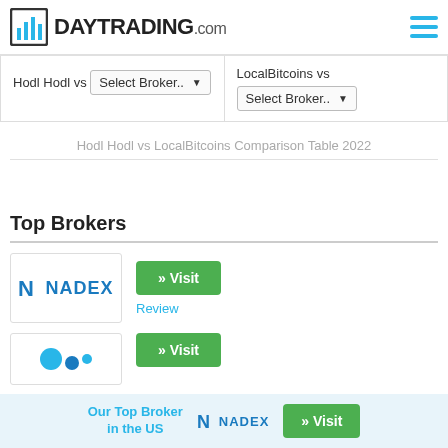DAYTRADING.com
Hodl Hodl vs Select Broker..
LocalBitcoins vs Select Broker..
Hodl Hodl vs LocalBitcoins Comparison Table 2022
Top Brokers
[Figure (logo): NADEX broker logo with N icon and text]
» Visit
Review
[Figure (logo): Partially visible second broker logo with blue dots]
» Visit
Our Top Broker in the US  NADEX  » Visit